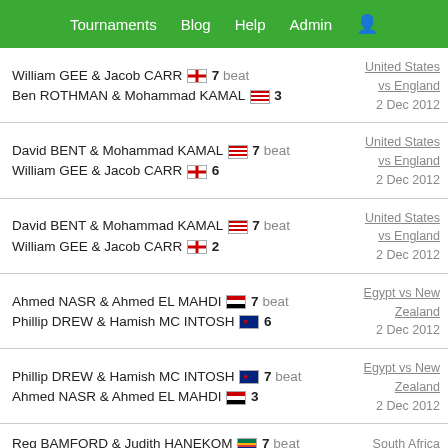Tournaments | Blog | Help | Admin
William GEE & Jacob CARR [ENG] 7 beat Ben ROTHMAN & Mohammad KAMAL [USA] 3 | United States vs England | 2 Dec 2012
David BENT & Mohammad KAMAL [USA] 7 beat William GEE & Jacob CARR [ENG] 6 | United States vs England | 2 Dec 2012
David BENT & Mohammad KAMAL [USA] 7 beat William GEE & Jacob CARR [ENG] 2 | United States vs England | 2 Dec 2012
Ahmed NASR & Ahmed EL MAHDI [EGY] 7 beat Phillip DREW & Hamish MC INTOSH [NZL] 6 | Egypt vs New Zealand | 2 Dec 2012
Phillip DREW & Hamish MC INTOSH [NZL] 7 beat Ahmed NASR & Ahmed EL MAHDI [EGY] 3 | Egypt vs New Zealand | 2 Dec 2012
Reg BAMFORD & Judith HANEKOM [SA] 7 beat | South Africa